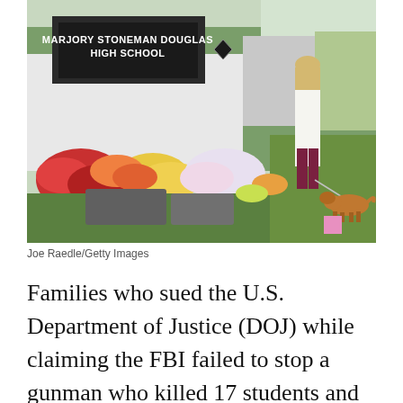[Figure (photo): Exterior of Marjory Stoneman Douglas High School with a memorial of flowers and bouquets in front of the sign. A woman in a white jacket and dark red pants walks a golden/brown dog on a leash on the grass near the memorial.]
Joe Raedle/Getty Images
Families who sued the U.S. Department of Justice (DOJ) while claiming the FBI failed to stop a gunman who killed 17 students and injured 17 more at Marjory Stoneman Douglas High School in Parkland, Florida, have reached a multi-million dollar